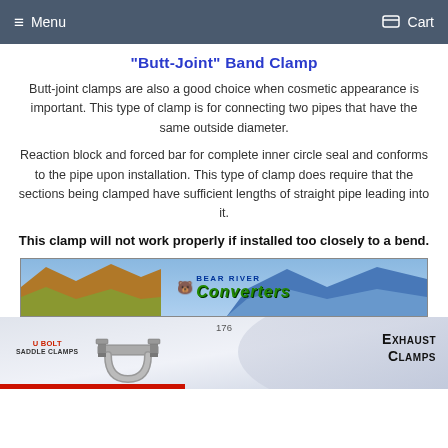Menu  Cart
"Butt-Joint" Band Clamp
Butt-joint clamps are also a good choice when cosmetic appearance is important. This type of clamp is for connecting two pipes that have the same outside diameter.
Reaction block and forced bar for complete inner circle seal and conforms to the pipe upon installation. This type of clamp does require that the sections being clamped have sufficient lengths of straight pipe leading into it.
This clamp will not work properly if installed too closely to a bend.
[Figure (logo): Bear River Converters banner logo with mountain landscape background]
[Figure (illustration): Catalog page bottom strip showing page number 176, U Bolt Saddle Clamps label with clamp illustration, and Exhaust Clamps section title]